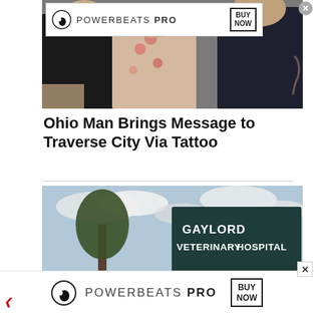[Figure (screenshot): Beats Powerbeats Pro advertisement banner with logo, text POWERBEATS PRO and BUY NOW box]
[Figure (photo): Three people standing together, one in black tank top, one in floral shirt, one in dark t-shirt]
Ohio Man Brings Message to Traverse City Via Tattoo
[Figure (photo): Gaylord Veterinary Hospital outdoor sign with trees and cloudy sky in background]
[Figure (screenshot): Beats Powerbeats Pro advertisement banner at bottom with logo, text POWERBEATS PRO and BUY NOW box]